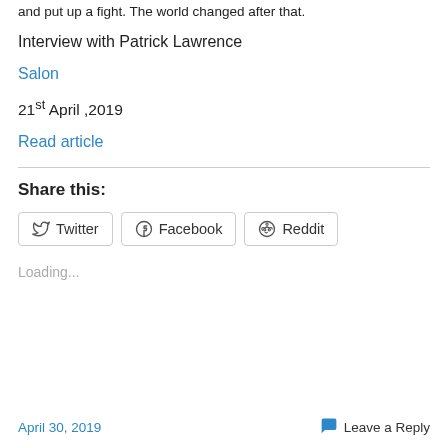and put up a fight. The world changed after that.
Interview with Patrick Lawrence
Salon
21st April ,2019
Read article
Share this:
Twitter  Facebook  Reddit
Loading...
April 30, 2019   Leave a Reply